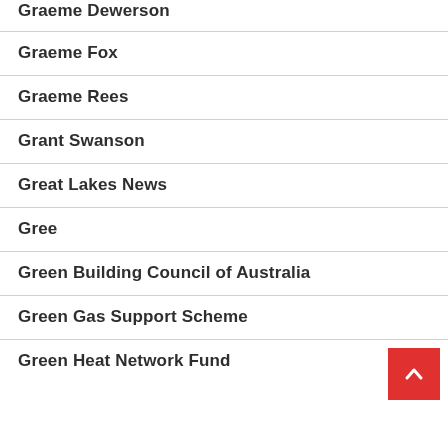Graeme Dewerson
Graeme Fox
Graeme Rees
Grant Swanson
Great Lakes News
Gree
Green Building Council of Australia
Green Gas Support Scheme
Green Heat Network Fund